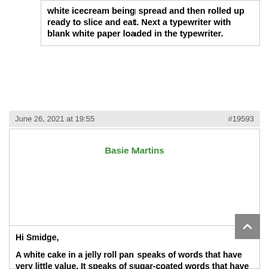white icecream being spread and then rolled up ready to slice and eat. Next a typewriter with blank white paper loaded in the typewriter.
June 26, 2021 at 19:55   #19593
Basie Martins
Hi Smidge,

A white cake in a jelly roll pan speaks of words that have very little value. It speaks of sugar-coated words that have no spiritual value. It makes me think of people who find themselves ministers who do not preach the true word of God anymore (meat and bread). They want to hear lies (sugar-coated cake with ice cream)